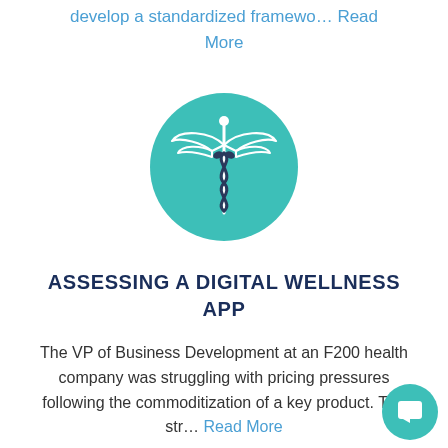develop a standardized framewo… Read More
[Figure (illustration): Teal circular icon containing a caduceus (medical) symbol with wings and two entwined snakes around a staff, in white and dark outline on teal background]
ASSESSING A DIGITAL WELLNESS APP
The VP of Business Development at an F200 health company was struggling with pricing pressures following the commoditization of a key product. The str… Read More